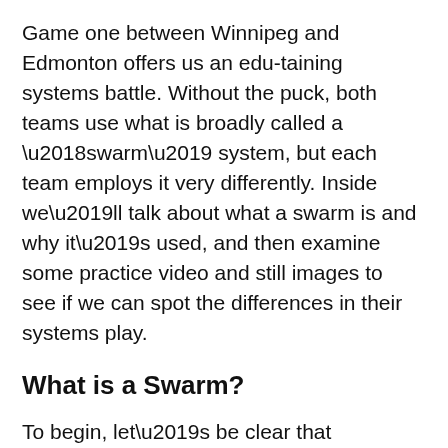Game one between Winnipeg and Edmonton offers us an edu-taining systems battle. Without the puck, both teams use what is broadly called a ‘swarm’ system, but each team employs it very differently. Inside we’ll talk about what a swarm is and why it’s used, and then examine some practice video and still images to see if we can spot the differences in their systems play.
What is a Swarm?
To begin, let’s be clear that we’re talking about a system without the puck. You’ll hear people call it a ‘swarm defence’ for that reason, but the defence/offence binary is less meaningful in hockey than in games with less flow to them. Personally, I think about the game through the lens